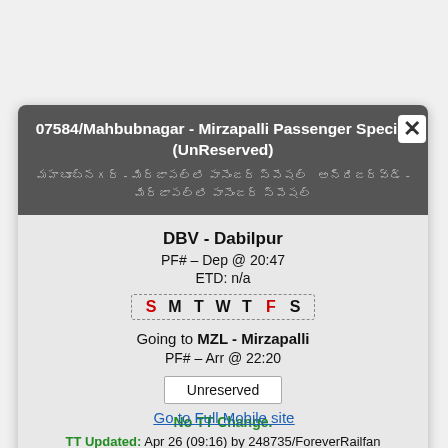07584/Mahbubnagar - Mirzapalli Passenger Special (UnReserved)
DBV - Dabilpur
PF# – Dep @ 20:47
ETD: n/a
S M T W T F S
Going to MZL - Mirzapalli
PF# – Arr @ 22:20
Unreserved
No TT Change.
TT Updated: Apr 26 (09:16) by 248735/ForeverRailfan
Go to Full Mobile site